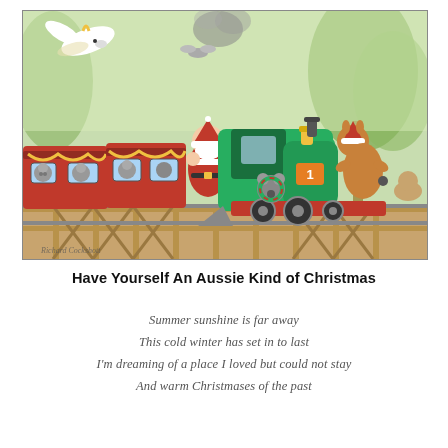[Figure (illustration): Colorful illustrated Christmas card scene featuring Santa Claus riding a green steam locomotive over a wooden trestle bridge, surrounded by Australian animals: koalas in the train carriages, a kangaroo wearing a Santa hat on the front engine, a cockatoo flying above, and other native animals. The train is pulling red carriages decorated with yellow garlands. Steam billows from the engine. Background shows green Australian bush/eucalyptus trees.]
Have Yourself An Aussie Kind of Christmas
Summer sunshine is far away
This cold winter has set in to last
I'm dreaming of a place I loved but could not stay
And warm Christmases of the past